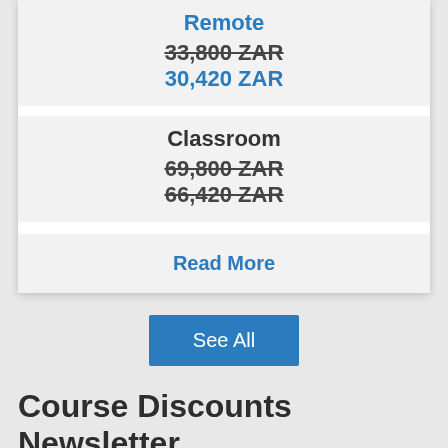Remote
33,800 ZAR
30,420 ZAR
Classroom
69,800 ZAR
66,420 ZAR
Read More
See All
Course Discounts Newsletter
We respect the privacy of your email address. We will not